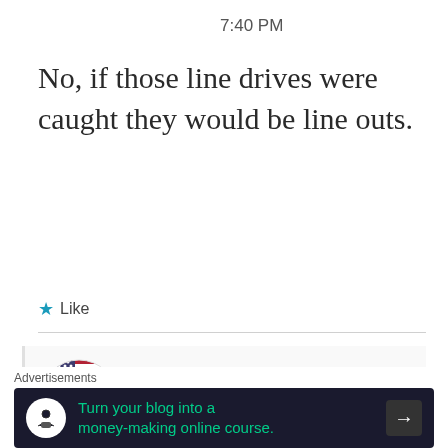7:40 PM
No, if those line drives were caught they would be line outs.
★ Like
Neil R
MAY 5, 2019 AT 8:29 PM
Th...still...wouldn't
Advertisements
Turn your blog into a money-making online course.